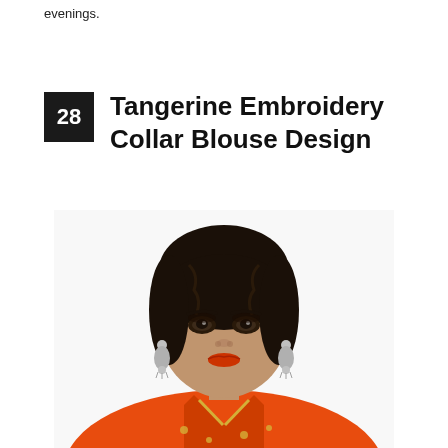evenings.
28  Tangerine Embroidery Collar Blouse Design
[Figure (photo): A woman model wearing a tangerine/orange embroidery collar blouse. She has dark hair in an updo, wearing jhumka earrings, bold eye makeup, and red-orange lipstick. The blouse is bright orange with gold collar embroidery and small embellishments.]